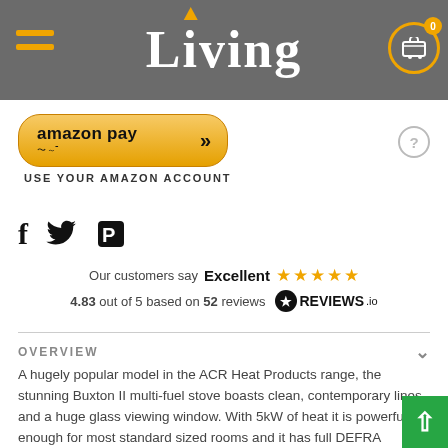Living
[Figure (logo): Amazon Pay button with USE YOUR AMAZON ACCOUNT text]
[Figure (infographic): Social media icons: Facebook, Twitter, Pinterest]
Our customers say Excellent ★★★★★ 4.83 out of 5 based on 52 reviews REVIEWS.io
OVERVIEW
A hugely popular model in the ACR Heat Products range, the stunning Buxton II multi-fuel stove boasts clean, contemporary lines and a huge glass viewing window. With 5kW of heat it is powerful enough for most standard sized rooms and it has full DEFRA approval.